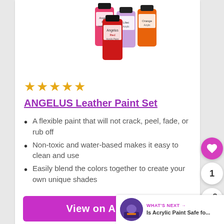[Figure (photo): Product image showing multiple small bottles of Angelus leather paint in various colors including pink, red, lilac, and orange]
[Figure (other): Five gold star rating icons]
ANGELUS Leather Paint Set
A flexible paint that will not crack, peel, fade, or rub off
Non-toxic and water-based makes it easy to clean and use
Easily blend the colors together to create your own unique shades
View on Amazon
WHAT'S NEXT → Is Acrylic Paint Safe fo...